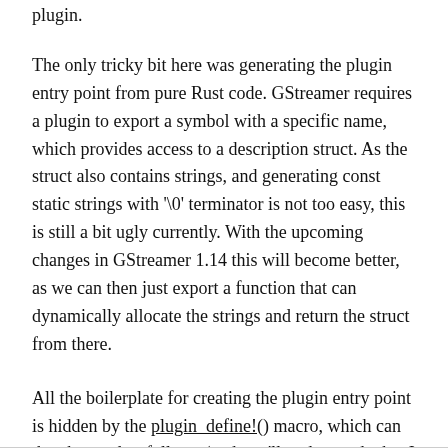plugin.
The only tricky bit here was generating the plugin entry point from pure Rust code. GStreamer requires a plugin to export a symbol with a specific name, which provides access to a description struct. As the struct also contains strings, and generating const static strings with '\0' terminator is not too easy, this is still a bit ugly currently. With the upcoming changes in GStreamer 1.14 this will become better, as we can then just export a function that can dynamically allocate the strings and return the struct from there.
All the boilerplate for creating the plugin entry point is hidden by the plugin_define!() macro, which can then be used as follows (and you'll understand what I mean with ugly '\0' terminated strings then):